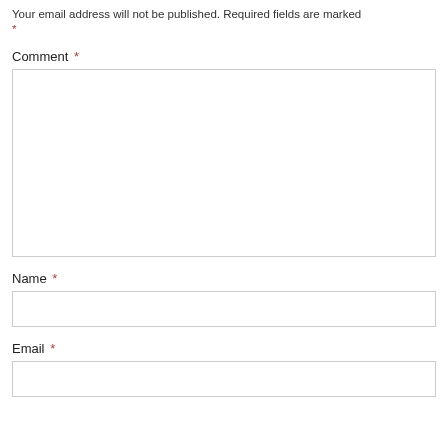Your email address will not be published. Required fields are marked *
Comment *
[Figure (other): Comment textarea input field]
Name *
[Figure (other): Name text input field]
Email *
[Figure (other): Email text input field]